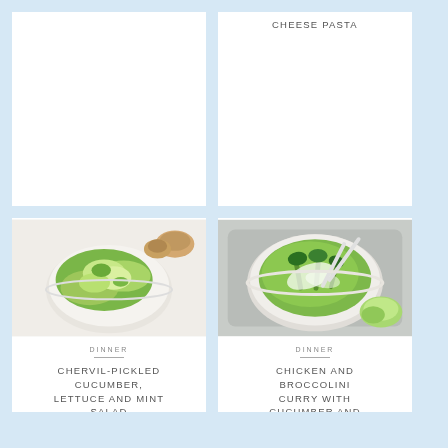[Figure (photo): Top-left card: partial white card visible, recipe card cropped at top]
CHEESE PASTA
[Figure (photo): Photo of chervil-pickled cucumber, lettuce and mint salad in a white bowl]
DINNER
CHERVIL-PICKLED CUCUMBER, LETTUCE AND MINT SALAD
[Figure (photo): Photo of chicken and broccolini curry with cucumber and coconut salad in a white bowl on a tray]
DINNER
CHICKEN AND BROCCOLINI CURRY WITH CUCUMBER AND COCONUT SALAD